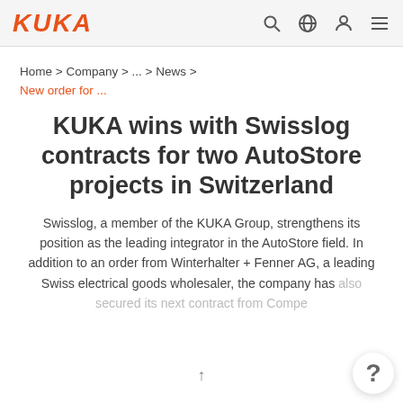KUKA
Home > Company > ... > News > New order for ...
KUKA wins with Swisslog contracts for two AutoStore projects in Switzerland
Swisslog, a member of the KUKA Group, strengthens its position as the leading integrator in the AutoStore field. In addition to an order from Winterhalter + Fenner AG, a leading Swiss electrical goods wholesaler, the company has also secured its next contract from Compe...